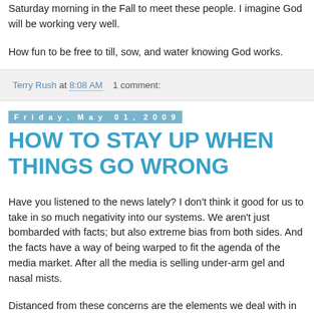Saturday morning in the Fall to meet these people. I imagine God will be working very well.
How fun to be free to till, sow, and water knowing God works.
Terry Rush at 8:08 AM   1 comment:
Friday, May 01, 2009
HOW TO STAY UP WHEN THINGS GO WRONG
Have you listened to the news lately? I don't think it good for us to take in so much negativity into our systems. We aren't just bombarded with facts; but also extreme bias from both sides. And the facts have a way of being warped to fit the agenda of the media market. After all the media is selling under-arm gel and nasal mists.
Distanced from these concerns are the elements we deal with in our reduced circle of society and individually. Worries